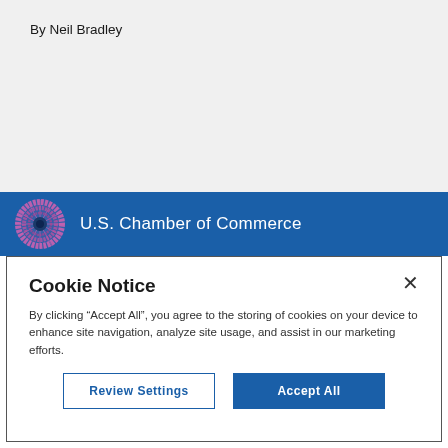By Neil Bradley
[Figure (logo): U.S. Chamber of Commerce logo — pink radial sunburst with dark blue center circle, on blue bar, with text 'U.S. Chamber of Commerce' in white]
Cookie Notice
By clicking “Accept All”, you agree to the storing of cookies on your device to enhance site navigation, analyze site usage, and assist in our marketing efforts.
Review Settings
Accept All